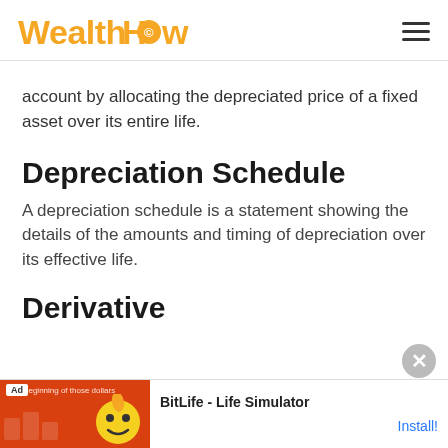WealthHow
account by allocating the depreciated price of a fixed asset over its entire life.
Depreciation Schedule
A depreciation schedule is a statement showing the details of the amounts and timing of depreciation over its effective life.
Derivative
[Figure (other): Advertisement banner for BitLife - Life Simulator app with red background, smiley face cartoon, and Install button]